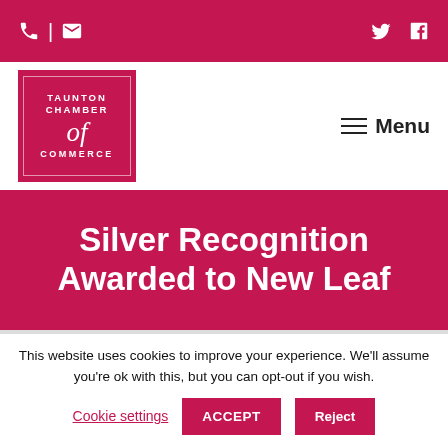Taunton Chamber of Commerce – top navigation bar with phone, email, Twitter, Facebook icons
[Figure (logo): Taunton Chamber of Commerce logo – pink square with white text and decorative script]
≡ Menu
Silver Recognition Awarded to New Leaf
This website uses cookies to improve your experience. We'll assume you're ok with this, but you can opt-out if you wish.
Cookie settings  ACCEPT  Reject